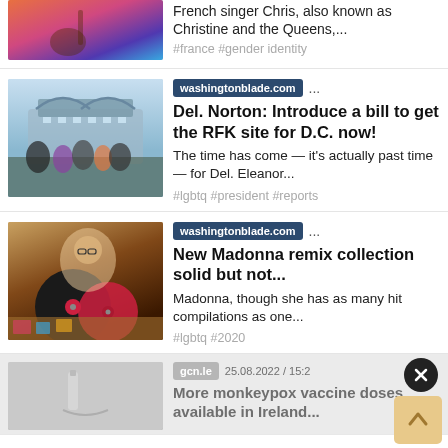[Figure (photo): Partial image of person with guitar, colorful background (orange, teal, purple)]
French singer Chris, also known as Christine and the Queens,...
#france #gender identity
[Figure (photo): Stadium exterior with crowd of people in foreground]
washingtonblade.com ...
Del. Norton: Introduce a bill to get the RFK site for D.C. now!
The time has come — it's actually past time — for Del. Eleanor...
#lgbtq #president #reports
[Figure (photo): Madonna album/compilation with vinyl records and colorful collage imagery]
washingtonblade.com ...
New Madonna remix collection solid but not...
Madonna, though she has as many hit compilations as one...
#lgbtq #2020
[Figure (photo): Hand holding something small, partially visible]
gcn.le  25.08.2022 / 15:2
More monkeypox vaccine doses available in Ireland...